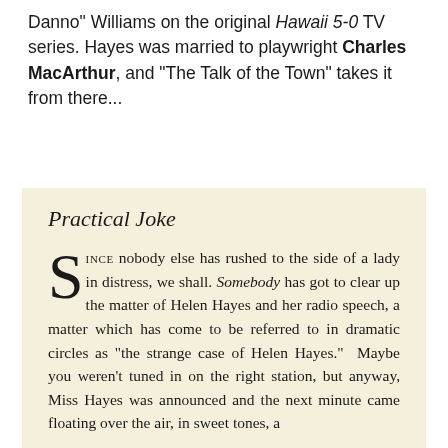Danno" Williams on the original Hawaii 5-0 TV series. Hayes was married to playwright Charles MacArthur, and "The Talk of the Town" takes it from there...
Practical Joke
SINCE nobody else has rushed to the side of a lady in distress, we shall. Somebody has got to clear up the matter of Helen Hayes and her radio speech, a matter which has come to be referred to in dramatic circles as "the strange case of Helen Hayes." Maybe you weren't tuned in on the right station, but anyway, Miss Hayes was announced and the next minute came floating over the air, in sweet tones, a